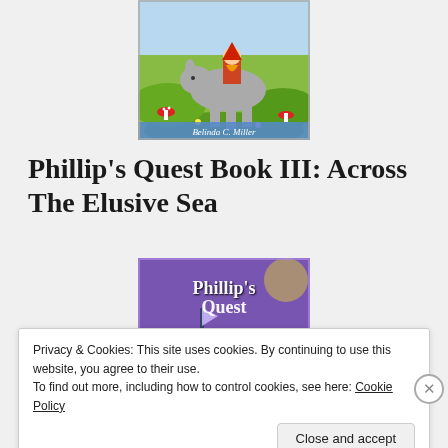[Figure (illustration): Book cover illustration showing a fairy-tale scene with a gnome/dwarf character, a large grey donkey or elephant, red mushrooms, flowers, and green hills. Author name 'Belinda C. Miller' shown at bottom of cover.]
Phillip's Quest Book III: Across The Elusive Sea
[Figure (illustration): Book cover for 'Phillip's Quest' showing stylized fantasy text logo in white/gold on a purple/blue watercolor background with a ship.]
Privacy & Cookies: This site uses cookies. By continuing to use this website, you agree to their use.
To find out more, including how to control cookies, see here: Cookie Policy
Close and accept